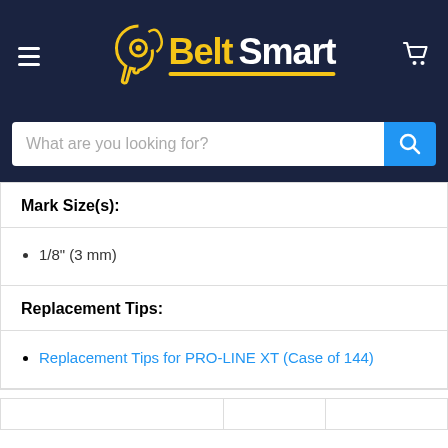[Figure (logo): Belt Smart logo with ear/tag icon in yellow and white text on dark navy background, with hamburger menu and cart icon]
What are you looking for?
| Mark Size(s): |  |
| --- | --- |
| • 1/8" (3 mm) |  |
| Replacement Tips: |  |
| • Replacement Tips for PRO-LINE XT (Case of 144) |  |
|  |